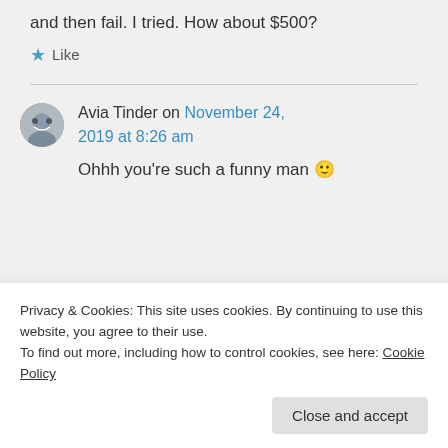and then fail. I tried. How about $500?
★ Like
Avia Tinder on November 24, 2019 at 8:26 am
Ohhh you're such a funny man 🙂
Privacy & Cookies: This site uses cookies. By continuing to use this website, you agree to their use.
To find out more, including how to control cookies, see here: Cookie Policy
Close and accept
24, 2019 at 8:29 am